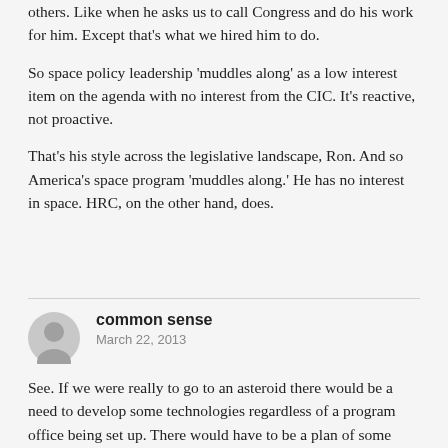others. Like when he asks us to call Congress and do his work for him. Except that's what we hired him to do.
So space policy leadership 'muddles along' as a low interest item on the agenda with no interest from the CIC. It's reactive, not proactive.
That's his style across the legislative landscape, Ron. And so America's space program 'muddles along.' He has no interest in space. HRC, on the other hand, does.
common sense
March 22, 2013
See. If we were really to go to an asteroid there would be a need to develop some technologies regardless of a program office being set up. There would have to be a plan of some sort, even drawn on a napkin in a fast-food restaurant. But Congress has essentially said they cannot care less for a technology development of any kind. I repeat of any kind. So, long before we think of having a program office to go to an asteroid, the Moon, EML or any of those grand destinations we will need a little tech